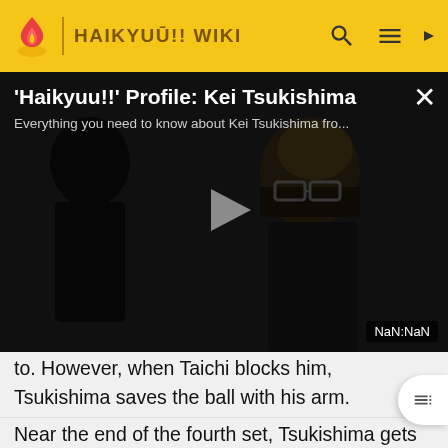HAIKYŪ!! WIKI
[Figure (screenshot): Video player showing 'Haikyuu!!' Profile: Kei Tsukishima with a play button overlay. The video thumbnail shows an anime character with glasses against a dark background. Timestamp shows NaN:NaN.]
'Haikyuu!!' Profile: Kei Tsukishima
Everything you need to know about Kei Tsukishima fro...
to. However, when Taichi blocks him, Tsukishima saves the ball with his arm.
Near the end of the fourth set, Tsukishima gets into a conflict with Tendō once more as Shiratorizawa scores against Karasuno. However, the next time Tsukishima